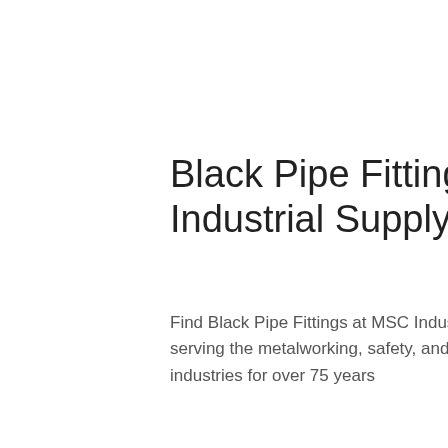Black Pipe Fittings - MSC Industrial Supply
Find Black Pipe Fittings at MSC Industrial serving the metalworking, safety, and MRO industries for over 75 years
[Figure (other): Orange 'Get Price' button]
[Figure (photo): 24/7 Online support agent - woman with headset smiling, with dark header bar showing '24/7 Online', chat prompt 'Click here for free chat!' and orange QUOTATION button]